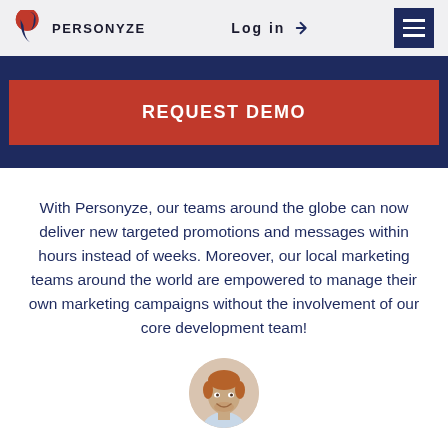PERSONYZE | Log in | ☰
[Figure (other): Red button on dark navy background reading REQUEST DEMO]
With Personyze, our teams around the globe can now deliver new targeted promotions and messages within hours instead of weeks. Moreover, our local marketing teams around the world are empowered to manage their own marketing campaigns without the involvement of our core development team!
[Figure (photo): Headshot photo of a smiling man with reddish hair, cropped circular portrait]